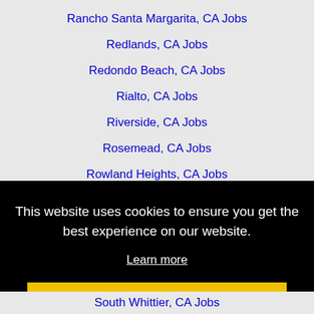Rancho Santa Margarita, CA Jobs
Redlands, CA Jobs
Redondo Beach, CA Jobs
Rialto, CA Jobs
Riverside, CA Jobs
Rosemead, CA Jobs
Rowland Heights, CA Jobs
San Bernardino, CA Jobs
San Clemente, CA Jobs
This website uses cookies to ensure you get the best experience on our website.
Learn more
Got it!
South Whittier, CA Jobs